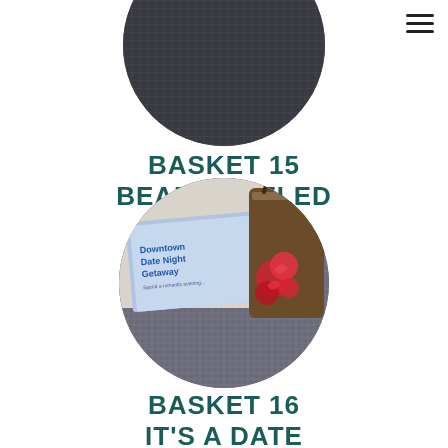[Figure (photo): Circular cropped photo of beaded jewelry/earrings hanging on a dark display, partially cut off at top of page]
BASKET 15
BEAD-DAZZLED
[Figure (photo): Circular cropped photo showing a 'Downtown Date Night Getaway' brochure/card in light blue next to a brown bag with red roses]
BASKET 16
IT'S A DATE